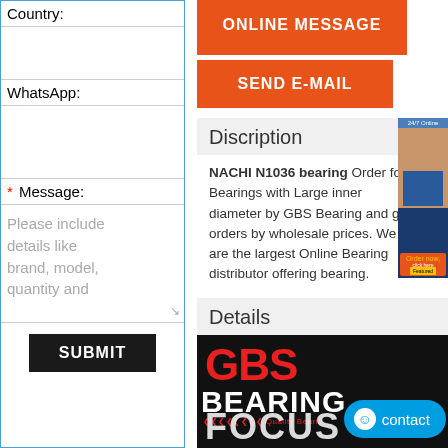Country:
WhatsApp:
* Message:
Please include details like brand, model, quantity and
SUBMIT
ONLINE MESSAGE
SEND E-MAIL
Discription
NACHI N1036 bearing Order for Bearings with Large inner diameter by GBS Bearing and get orders by wholesale prices. We are the largest Online Bearing distributor offering bearing.
Details
[Figure (logo): GBS Bearing logo with red GBS text and white BEARING text on dark background, with FOCUS text partially visible]
contact